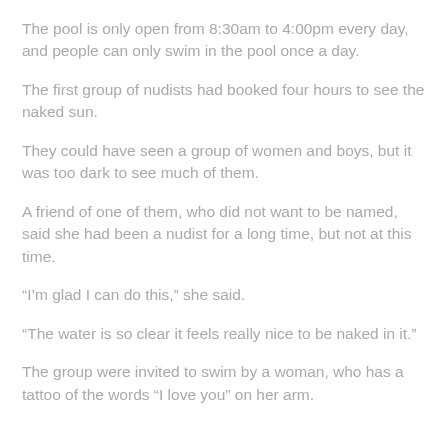The pool is only open from 8:30am to 4:00pm every day, and people can only swim in the pool once a day.
The first group of nudists had booked four hours to see the naked sun.
They could have seen a group of women and boys, but it was too dark to see much of them.
A friend of one of them, who did not want to be named, said she had been a nudist for a long time, but not at this time.
“I’m glad I can do this,” she said.
“The water is so clear it feels really nice to be naked in it.”
The group were invited to swim by a woman, who has a tattoo of the words “I love you” on her arm.